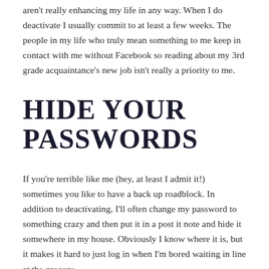aren't really enhancing my life in any way. When I do deactivate I usually commit to at least a few weeks. The people in my life who truly mean something to me keep in contact with me without Facebook so reading about my 3rd grade acquaintance's new job isn't really a priority to me.
HIDE YOUR PASSWORDS
If you're terrible like me (hey, at least I admit it!) sometimes you like to have a back up roadblock. In addition to deactivating, I'll often change my password to something crazy and then put it in a post it note and hide it somewhere in my house. Obviously I know where it is, but it makes it hard to just log in when I'm bored waiting in line at the grocery